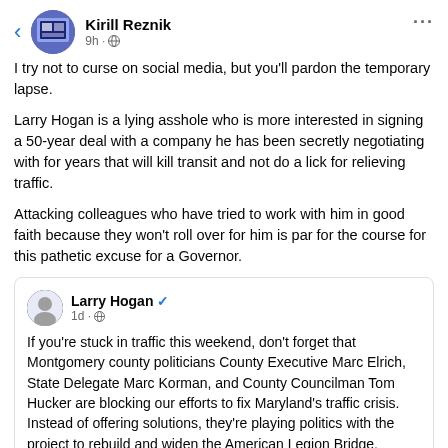Kirill Reznik — 9h · public
I try not to curse on social media, but you'll pardon the temporary lapse.
Larry Hogan is a lying asshole who is more interested in signing a 50-year deal with a company he has been secretly negotiating with for years that will kill transit and not do a lick for relieving traffic.
Attacking colleagues who have tried to work with him in good faith because they won't roll over for him is par for the course for this pathetic excuse for a Governor.
Larry Hogan (verified) — 1d · public
If you're stuck in traffic this weekend, don't forget that Montgomery county politicians County Executive Marc Elrich, State Delegate Marc Korman, and County Councilman Tom Hucker are blocking our efforts to fix Maryland's traffic crisis. Instead of offering solutions, they're playing politics with the project to rebuild and widen the American Legion Bridge, putting at risk every single project in their region.